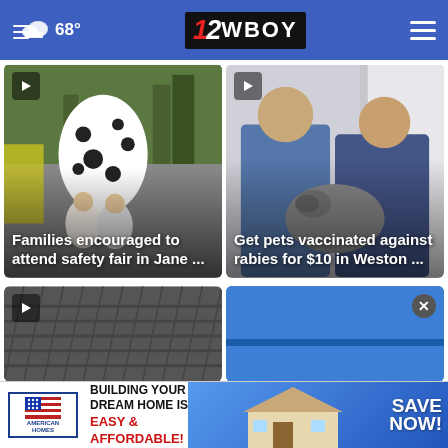68° | 12WBOY
[Figure (screenshot): Video thumbnail: Dalmatian mascot costume with children, fire truck in background. Caption: Families encouraged to attend safety fair in Jane ...]
[Figure (screenshot): Video thumbnail: Two veterinary workers holding a dog. Caption: Get pets vaccinated against rabies for $10 in Weston ...]
[Figure (screenshot): Video thumbnail: Rooftop/shingles close-up shot.]
[Figure (screenshot): Blue panel with close button (x).]
[Figure (screenshot): Advertisement banner: American Homes — Building your dream home is easy & affordable! | Save Now!]